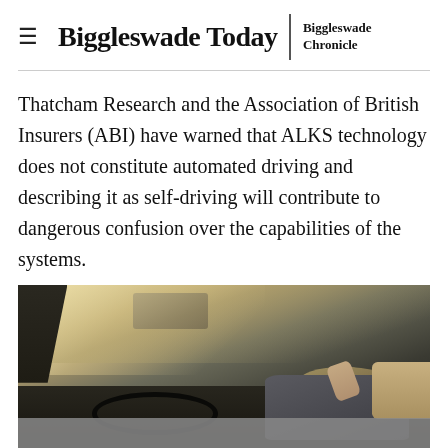≡ Biggleswade Today | Biggleswade Chronicle
Thatcham Research and the Association of British Insurers (ABI) have warned that ALKS technology does not constitute automated driving and describing it as self-driving will contribute to dangerous confusion over the capabilities of the systems.
[Figure (photo): Photo of a woman sitting in the driver's seat of a car, applying lipstick while looking in the mirror, with the windshield and interior of the car visible in the background.]